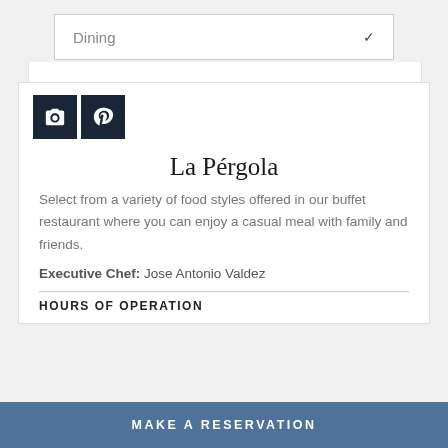Dining
[Figure (other): Two dark navy icon buttons: a camera icon and a Pinterest 'P' icon]
La Pérgola
Select from a variety of food styles offered in our buffet restaurant where you can enjoy a casual meal with family and friends.
Executive Chef: Jose Antonio Valdez
HOURS OF OPERATION
MAKE A RESERVATION